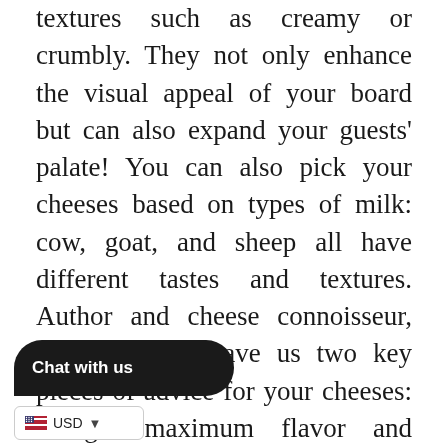textures such as creamy or crumbly. They not only enhance the visual appeal of your board but can also expand your guests' palate! You can also pick your cheeses based on types of milk: cow, goat, and sheep all have different tastes and textures. Author and cheese connoisseur, Laura Werlin, gave us two key pieces of advice for your cheeses: to get maximum flavor and enjoyment, always make sure both the cheese and meats are brought to room temperature before serving. You also may consider portioning the cheeses into triangles, wedges, and/or rectangles and creating a pattern of each cheese interspersed with t[he othe]r ingredients.  Traditional [charcuterie] boards mix the cheese with the rest of the[...]